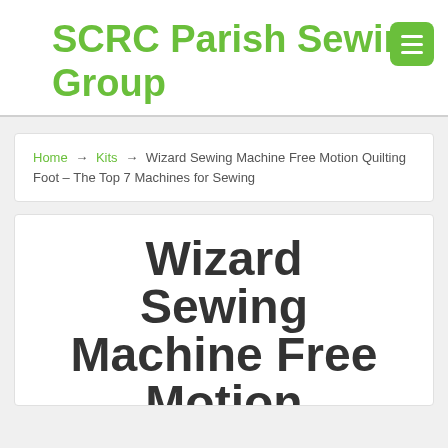SCRC Parish Sewing Group
Home → Kits → Wizard Sewing Machine Free Motion Quilting Foot – The Top 7 Machines for Sewing
Wizard Sewing Machine Free Motion